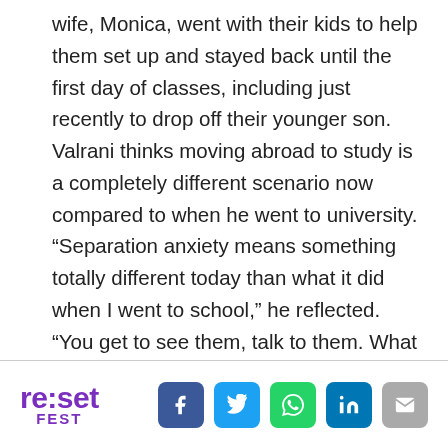wife, Monica, went with their kids to help them set up and stayed back until the first day of classes, including just recently to drop off their younger son. Valrani thinks moving abroad to study is a completely different scenario now compared to when he went to university. “Separation anxiety means something totally different today than what it did when I went to school,” he reflected. “You get to see them, talk to them. What I’m hoping is common is when [my sons] graduate, they will also believe in themselves.”
re:set FEST [social icons: Facebook, Twitter, WhatsApp, LinkedIn, Email]